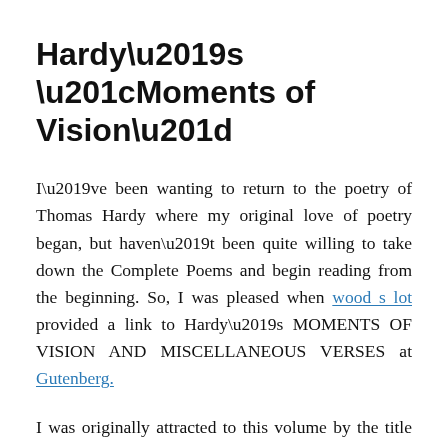Hardy’s “Moments of Vision”
I’ve been wanting to return to the poetry of Thomas Hardy where my original love of poetry began, but haven’t been quite willing to take down the Complete Poems and begin reading from the beginning. So, I was pleased when wood s lot provided a link to Hardy’s MOMENTS OF VISION AND MISCELLANEOUS VERSES at Gutenberg.
I was originally attracted to this volume by the title poem, one I still find it powerful after